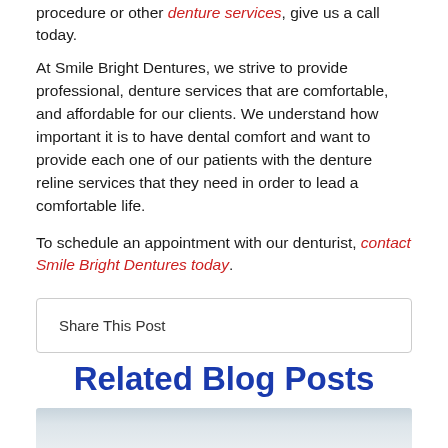procedure or other denture services, give us a call today.
At Smile Bright Dentures, we strive to provide professional, denture services that are comfortable, and affordable for our clients. We understand how important it is to have dental comfort and want to provide each one of our patients with the denture reline services that they need in order to lead a comfortable life.
To schedule an appointment with our denturist, contact Smile Bright Dentures today.
Share This Post
Related Blog Posts
[Figure (photo): Blog post thumbnail image showing a light-colored background]